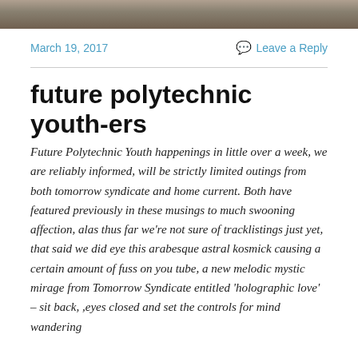[Figure (photo): Cropped photo strip at the top of the page, showing a blurred indoor scene with warm tones.]
March 19, 2017
Leave a Reply
future polytechnic youth-ers
Future Polytechnic Youth happenings in little over a week, we are reliably informed, will be strictly limited outings from both tomorrow syndicate and home current. Both have featured previously in these musings to much swooning affection, alas thus far we're not sure of tracklistings just yet, that said we did eye this arabesque astral kosmick causing a certain amount of fuss on you tube, a new melodic mystic mirage from Tomorrow Syndicate entitled 'holographic love' – sit back, ,eyes closed and set the controls for mind wandering